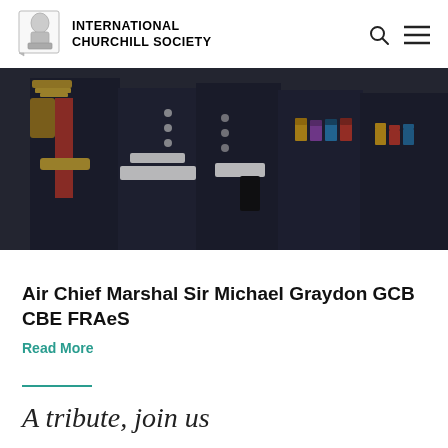INTERNATIONAL CHURCHILL SOCIETY
[Figure (photo): Military officers in dark dress uniforms with medals, gold braiding and white belts, standing in formation]
Air Chief Marshal Sir Michael Graydon GCB CBE FRAeS
Read More
A tribute, join us